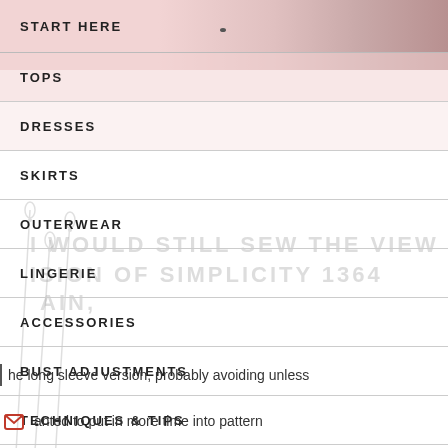[Figure (photo): Pink background with cat silhouette image at top of page]
START HERE
TOPS
DRESSES
SKIRTS
OUTERWEAR
LINGERIE
ACCESSORIES
BUST ADJUSTMENTS
TECHNIQUES & TIPS
I WOULD STILL SEW THE VIEW B
ISION OF SIMPLICITY 1364
AIN,
he long sleeve version, probably avoiding unless
anted to put in more time into pattern